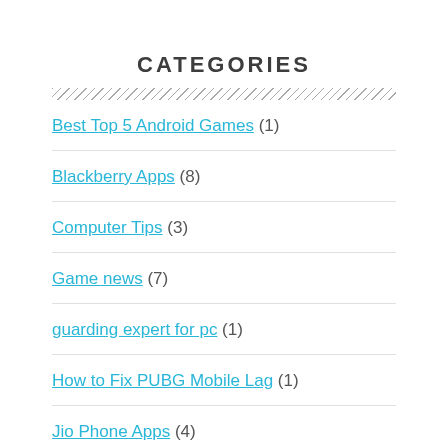CATEGORIES
Best Top 5 Android Games (1)
Blackberry Apps (8)
Computer Tips (3)
Game news (7)
guarding expert for pc (1)
How to Fix PUBG Mobile Lag (1)
Jio Phone Apps (4)
mini militia guide (6)